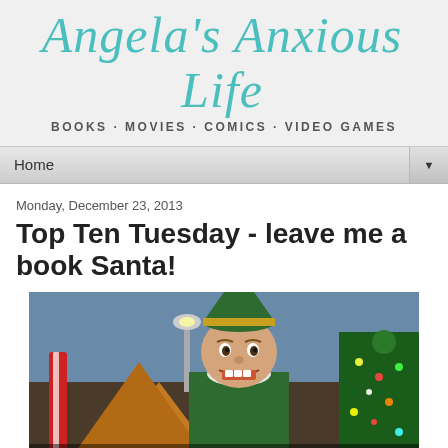Angela's Anxious Life
BOOKS · MOVIES · COMICS · VIDEO GAMES
Home
Monday, December 23, 2013
Top Ten Tuesday - leave me a book Santa!
[Figure (photo): Screenshot from the movie Elf showing Will Ferrell in elf costume with text caption 'santa's coming']